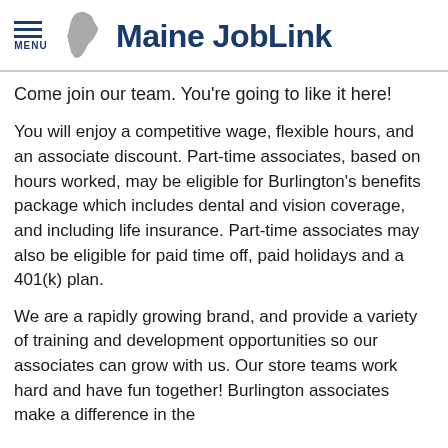Maine JobLink
Come join our team. You're going to like it here!
You will enjoy a competitive wage, flexible hours, and an associate discount. Part-time associates, based on hours worked, may be eligible for Burlington's benefits package which includes dental and vision coverage, and including life insurance. Part-time associates may also be eligible for paid time off, paid holidays and a 401(k) plan.
We are a rapidly growing brand, and provide a variety of training and development opportunities so our associates can grow with us. Our store teams work hard and have fun together! Burlington associates make a difference in the